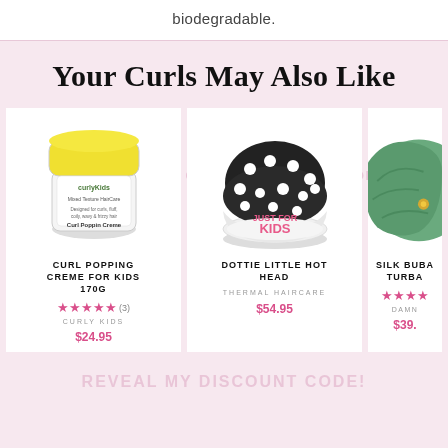biodegradable.
Your Curls May Also Like
[Figure (photo): Curl Popping Creme for Kids 170g product jar by Curly Kids]
CURL POPPING CREME FOR KIDS 170G
★★★★★ (3)
CURLY KIDS
$24.95
[Figure (photo): Dottie Little Hot Head thermal haircare cap - black with white polka dots, Just For Kids brand]
DOTTIE LITTLE HOT HEAD
THERMAL HAIRCARE
$54.95
[Figure (photo): Silk Buba Turban - green silk turban, partially visible]
SILK BUBA TURBA
DAMN
$39.